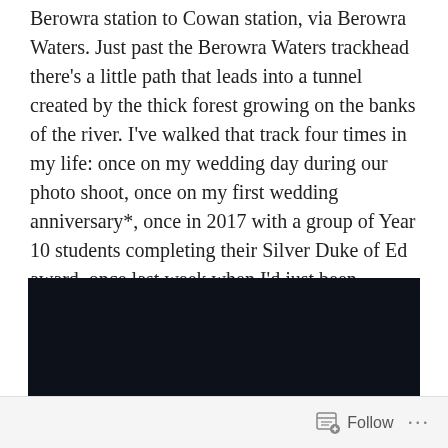Berowra station to Cowan station, via Berowra Waters. Just past the Berowra Waters trackhead there's a little path that leads into a tunnel created by the thick forest growing on the banks of the river. I've walked that track four times in my life: once on my wedding day during our photo shoot, once on my first wedding anniversary*, once in 2017 with a group of Year 10 students completing their Silver Duke of Ed award, once last week when I'd just been advised of the details for my flight to Darwin.
[Figure (photo): Dark/black photograph, details not visible]
Follow ···